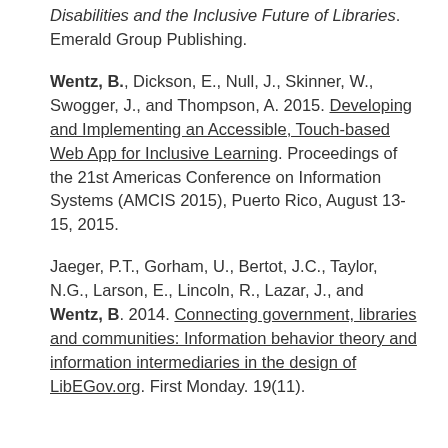Disabilities and the Inclusive Future of Libraries. Emerald Group Publishing.
Wentz, B., Dickson, E., Null, J., Skinner, W., Swogger, J., and Thompson, A. 2015. Developing and Implementing an Accessible, Touch-based Web App for Inclusive Learning. Proceedings of the 21st Americas Conference on Information Systems (AMCIS 2015), Puerto Rico, August 13-15, 2015.
Jaeger, P.T., Gorham, U., Bertot, J.C., Taylor, N.G., Larson, E., Lincoln, R., Lazar, J., and Wentz, B. 2014. Connecting government, libraries and communities: Information behavior theory and information intermediaries in the design of LibEGov.org. First Monday. 19(11).